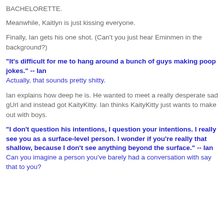BACHELORETTE.
Meanwhile, Kaitlyn is just kissing everyone.
Finally, Ian gets his one shot. (Can't you just hear Eminmen in the background?)
"It's difficult for me to hang around a bunch of guys making poop jokes." -- Ian
Actually, that sounds pretty shitty.
Ian explains how deep he is. He wanted to meet a really desperate sad gUrl and instead got KaityKitty. Ian thinks KaityKitty just wants to make out with boys.
"I don't question his intentions, I question your intentions. I really see you as a surface-level person. I wonder if you're really that shallow, because I don't see anything beyond the surface." -- Ian
Can you imagine a person you've barely had a conversation with say that to you?